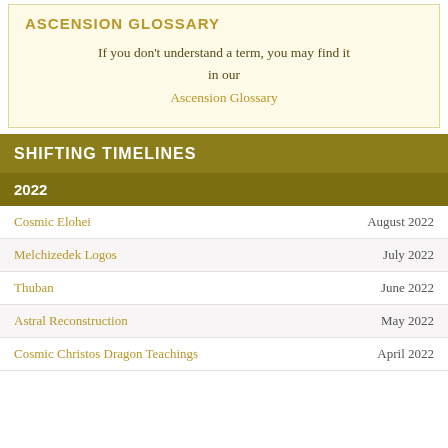ASCENSION GLOSSARY
If you don't understand a term, you may find it in our
Ascension Glossary
SHIFTING TIMELINES
2022
Cosmic Elohei — August 2022
Melchizedek Logos — July 2022
Thuban — June 2022
Astral Reconstruction — May 2022
Cosmic Christos Dragon Teachings — April 2022